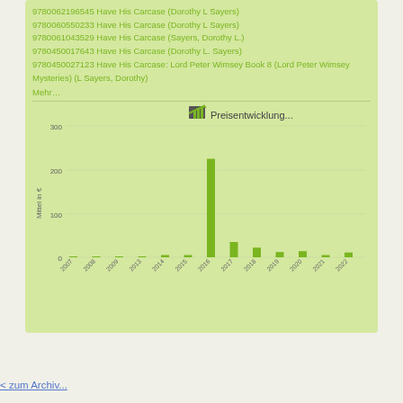9780062196545 Have His Carcase (Dorothy L Sayers)
9780060550233 Have His Carcase (Dorothy L Sayers)
9780061043529 Have His Carcase (Sayers, Dorothy L.)
9780450017643 Have His Carcase (Dorothy L. Sayers)
9780450027123 Have His Carcase: Lord Peter Wimsey Book 8 (Lord Peter Wimsey Mysteries) (L Sayers, Dorothy)
Mehr…
[Figure (bar-chart): Preisentwicklung...]
< zum Archiv...